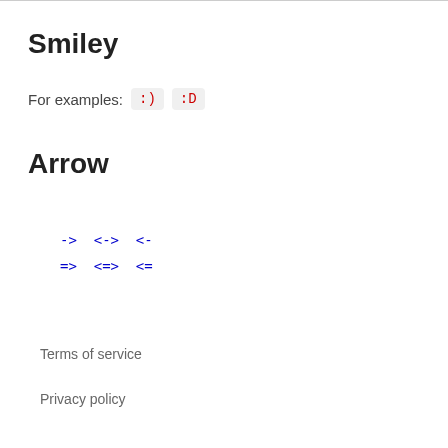Smiley
For examples:  :)  :D
Arrow
->  <->  <-
=>  <=>  <=
Terms of service
Privacy policy